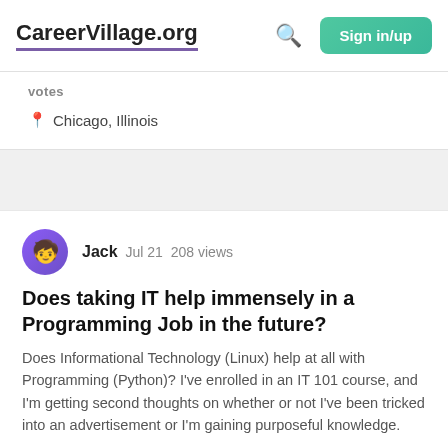CareerVillage.org  Sign in/up
votes
Chicago, Illinois
Jack  Jul 21  208 views
Does taking IT help immensely in a Programming Job in the future?
Does Informational Technology (Linux) help at all with Programming (Python)? I've enrolled in an IT 101 course, and I'm getting second thoughts on whether or not I've been tricked into an advertisement or I'm gaining purposeful knowledge.
computer-science  technology  student